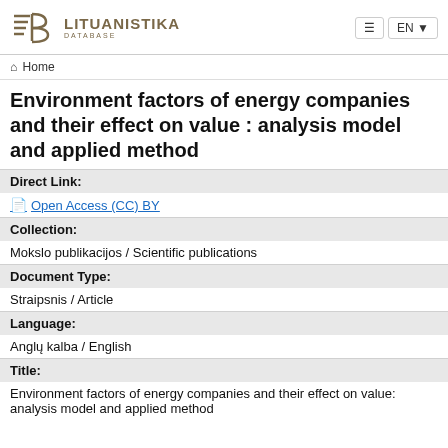[Figure (logo): Lituanistika Database logo with stylized LB letters and text]
Home
Environment factors of energy companies and their effect on value : analysis model and applied method
Direct Link:
Open Access (CC) BY
Collection:
Mokslo publikacijos / Scientific publications
Document Type:
Straipsnis / Article
Language:
Anglų kalba / English
Title:
Environment factors of energy companies and their effect on value: analysis model and applied method